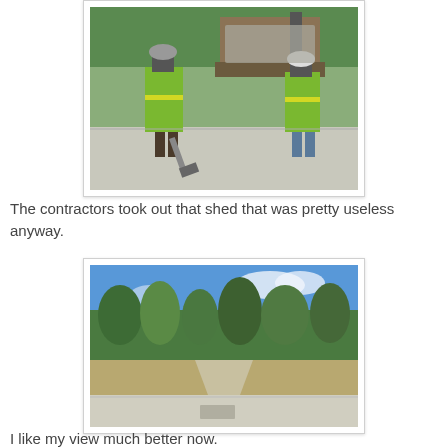[Figure (photo): Two construction workers in green high-visibility vests and hard hats on a concrete slab, with a front loader/excavator dumping rocks or rubble. Outdoor setting with trees and grass in background.]
The contractors took out that shed that was pretty useless anyway.
[Figure (photo): Outdoor scene showing a cleared concrete slab in the foreground, with grass and a variety of trees under a partly cloudy blue sky. No shed visible.]
I like my view much better now.